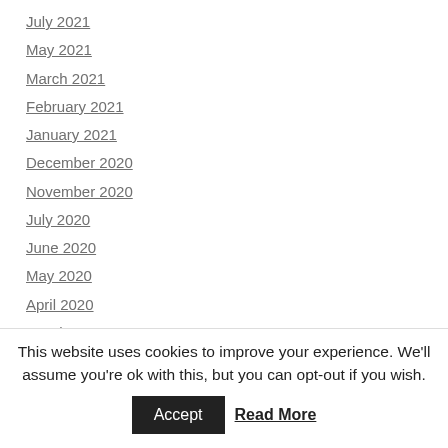July 2021
May 2021
March 2021
February 2021
January 2021
December 2020
November 2020
July 2020
June 2020
May 2020
April 2020
March 2020
February 2020
January 2020
December 2019
This website uses cookies to improve your experience. We'll assume you're ok with this, but you can opt-out if you wish. Accept Read More